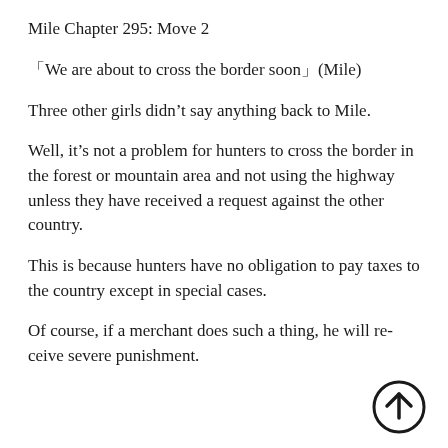Mile Chapter 295: Move 2
「We are about to cross the border soon」(Mile)
Three other girls didn’t say anything back to Mile.
Well, it’s not a problem for hunters to cross the border in the forest or mountain area and not using the highway unless they have received a request against the other country.
This is because hunters have no obligation to pay taxes to the country except in special cases.
Of course, if a merchant does such a thing, he will receive severe punishment.
[Figure (illustration): A circular scroll-to-top button with an upward arrow icon, positioned at the bottom right corner of the page.]